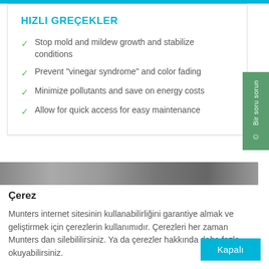HIZLI GREÇEKLER
Stop mold and mildew growth and stabilize conditions
Prevent “vinegar syndrome” and color fading
Minimize pollutants and save on energy costs
Allow for quick access for easy maintenance
[Figure (photo): Partial photo strip visible below the card panel]
Çerez
Munters internet sitesinin kullanabilirliğini garantiye almak ve geliştirmek için çerezlerin kullanımıdır. Çerezleri her zaman Munters dan silebililirsiniz. Ya da çerezler hakkında daha fazla okuyabilirsiniz.